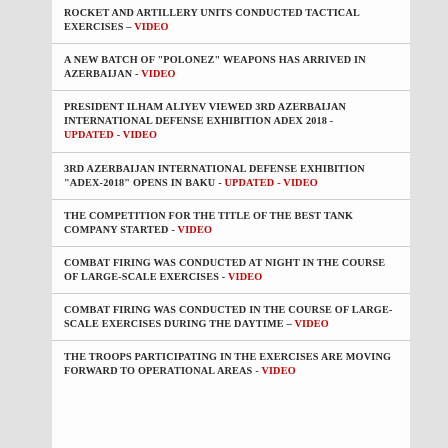ROCKET AND ARTILLERY UNITS CONDUCTED TACTICAL EXERCISES – VIDEO
A NEW BATCH OF "POLONEZ" WEAPONS HAS ARRIVED IN AZERBAIJAN - VIDEO
PRESIDENT ILHAM ALIYEV VIEWED 3RD AZERBAIJAN INTERNATIONAL DEFENSE EXHIBITION ADEX 2018 - UPDATED - VIDEO
3RD AZERBAIJAN INTERNATIONAL DEFENSE EXHIBITION "ADEX-2018" OPENS IN BAKU - UPDATED - VIDEO
THE COMPETITION FOR THE TITLE OF THE BEST TANK COMPANY STARTED - VIDEO
COMBAT FIRING WAS CONDUCTED AT NIGHT IN THE COURSE OF LARGE-SCALE EXERCISES - VIDEO
COMBAT FIRING WAS CONDUCTED IN THE COURSE OF LARGE-SCALE EXERCISES DURING THE DAYTIME – VIDEO
THE TROOPS PARTICIPATING IN THE EXERCISES ARE MOVING FORWARD TO OPERATIONAL AREAS - VIDEO